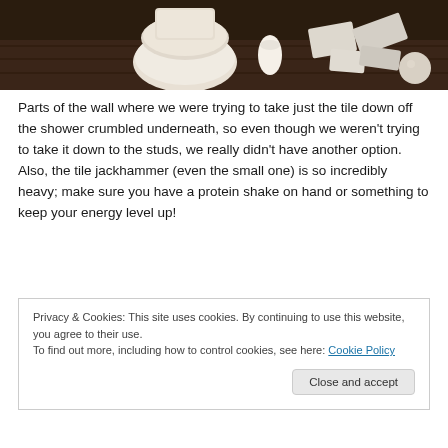[Figure (photo): Photo of a bathroom renovation scene showing a toilet and debris/materials on a dark floor]
Parts of the wall where we were trying to take just the tile down off the shower crumbled underneath, so even though we weren't trying to take it down to the studs, we really didn't have another option. Also, the tile jackhammer (even the small one) is so incredibly heavy; make sure you have a protein shake on hand or something to keep your energy level up!
Privacy & Cookies: This site uses cookies. By continuing to use this website, you agree to their use.
To find out more, including how to control cookies, see here: Cookie Policy
Close and accept